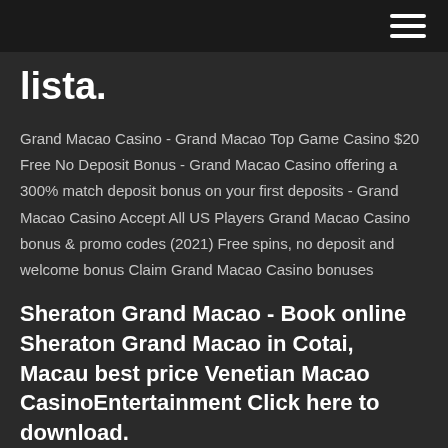lista.
Grand Macao Casino - Grand Macao Top Game Casino $20 Free No Deposit Bonus - Grand Macao Casino offering a 300% match deposit bonus on your first deposits - Grand Macao Casino Accept All US Players Grand Macao Casino bonus & promo codes (2021) Free spins, no deposit and welcome bonus Claim Grand Macao Casino bonuses
Sheraton Grand Macao - Book online Sheraton Grand Macao in Cotai, Macau best price Venetian Macao CasinoEntertainment Click here to download.
Find the perfect The Venetian Macao stock photos and